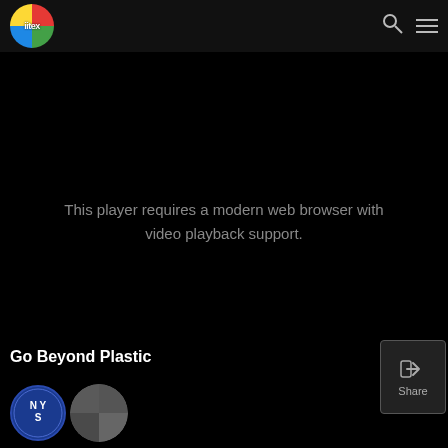[Figure (screenshot): Website header with circular logo reading 'iitex' with multi-colored quadrant design on dark background, search icon and hamburger menu on the right]
[Figure (screenshot): Video player area showing black screen with message: 'This player requires a modern web browser with video playback support.']
This player requires a modern web browser with video playback support.
Go Beyond Plastic
[Figure (screenshot): Share button with share icon and text 'Share']
[Figure (logo): NYS circular logo in blue with letters N Y S]
[Figure (logo): Small circular iitex logo with multi-colored quadrant design]